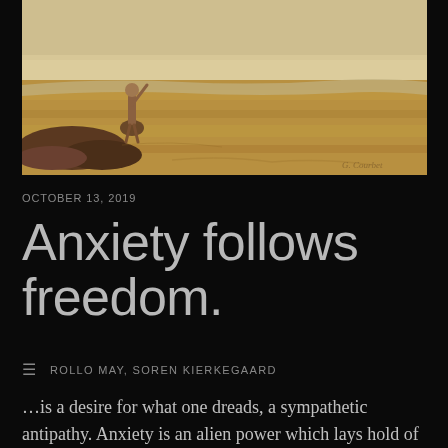[Figure (illustration): A painterly scene of a figure standing on rocks at a shoreline, with golden-brown sandy beach and light sky in the background. Artist signature reads 'G. Courbet' in lower right.]
OCTOBER 13, 2019
Anxiety follows freedom.
ROLLO MAY, SOREN KIERKEGAARD
…is a desire for what one dreads, a sympathetic antipathy. Anxiety is an alien power which lays hold of an individual, and yet one cannot tear oneself away, nor has a will to do so; for one fears,